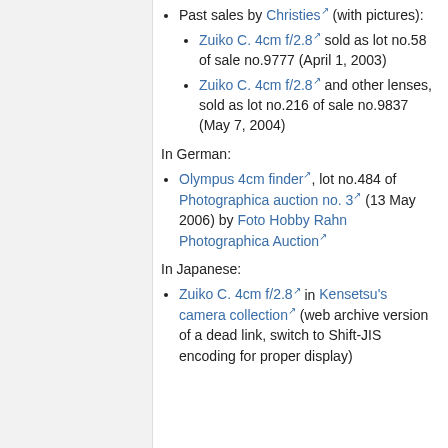Past sales by Christies (with pictures):
Zuiko C. 4cm f/2.8 sold as lot no.58 of sale no.9777 (April 1, 2003)
Zuiko C. 4cm f/2.8 and other lenses, sold as lot no.216 of sale no.9837 (May 7, 2004)
In German:
Olympus 4cm finder, lot no.484 of Photographica auction no. 3 (13 May 2006) by Foto Hobby Rahn Photographica Auction
In Japanese:
Zuiko C. 4cm f/2.8 in Kensetsu's camera collection (web archive version of a dead link, switch to Shift-JIS encoding for proper display)